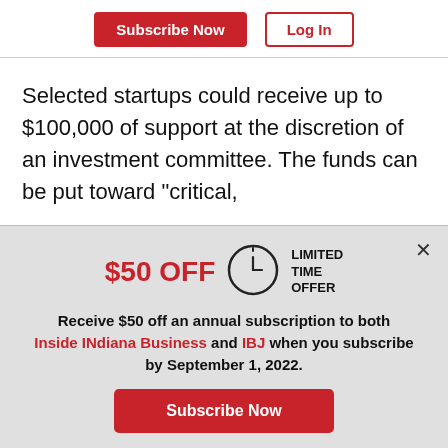Subscribe Now | Log In
Selected startups could receive up to $100,000 of support at the discretion of an investment committee. The funds can be put toward "critical,
$50 OFF LIMITED TIME OFFER
Receive $50 off an annual subscription to both Inside INdiana Business and IBJ when you subscribe by September 1, 2022.
Subscribe Now
Already a paid subscriber?
Log In